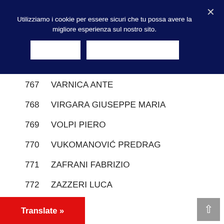Utilizziamo i cookie per essere sicuri che tu possa avere la migliore esperienza sul nostro sito.
767    VARNICA ANTE
768    VIRGARA GIUSEPPE MARIA
769    VOLPI PIERO
770    VUKOMANOVIĆ PREDRAG
771    ZAFRANI FABRIZIO
772    ZAZZERI LUCA
773    ...ORENO